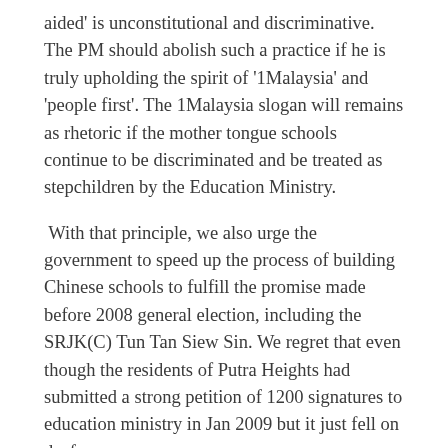aided' is unconstitutional and discriminative. The PM should abolish such a practice if he is truly upholding the spirit of '1Malaysia' and 'people first'. The 1Malaysia slogan will remains as rhetoric if the mother tongue schools continue to be discriminated and be treated as stepchildren by the Education Ministry.
With that principle, we also urge the government to speed up the process of building Chinese schools to fulfill the promise made before 2008 general election, including the SRJK(C) Tun Tan Siew Sin. We regret that even though the residents of Putra Heights had submitted a strong petition of 1200 signatures to education ministry in Jan 2009 but it just fell on deaf ears.